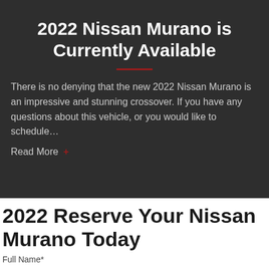2022 Nissan Murano is Currently Available
There is no denying that the new 2022 Nissan Murano is an impressive and stunning crossover. If you have any questions about this vehicle, or you would like to schedule…
Read More +
2022 Reserve Your Nissan Murano Today
Full Name*